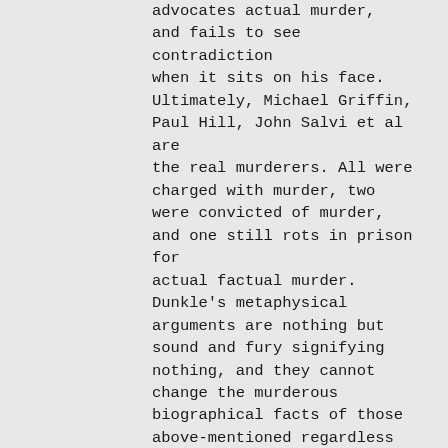advocates actual murder, and fails to see contradiction when it sits on his face. Ultimately, Michael Griffin, Paul Hill, John Salvi et al are the real murderers. All were charged with murder, two were convicted of murder, and one still rots in prison for actual factual murder. Dunkle's metaphysical arguments are nothing but sound and fury signifying nothing, and they cannot change the murderous biographical facts of those above-mentioned regardless